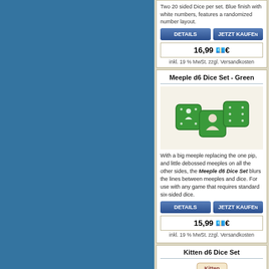Two 20 sided Dice per set. Blue finish with white numbers, features a randomized number layout.
DETAILS   JETZT KAUFEN
16,99 €
inkl. 19 % MwSt. zzgl. Versandkosten
Meeple d6 Dice Set - Green
[Figure (photo): Three green meeple dice with meeple symbols on faces]
With a big meeple replacing the one pip, and little debossed meeples on all the other sides, the Meeple d6 Dice Set blurs the lines between meeples and dice. For use with any game that requires standard six-sided dice.
DETAILS   JETZT KAUFEN
15,99 €
inkl. 19 % MwSt. zzgl. Versandkosten
Kitten d6 Dice Set
[Figure (photo): Kitten dice set product image]